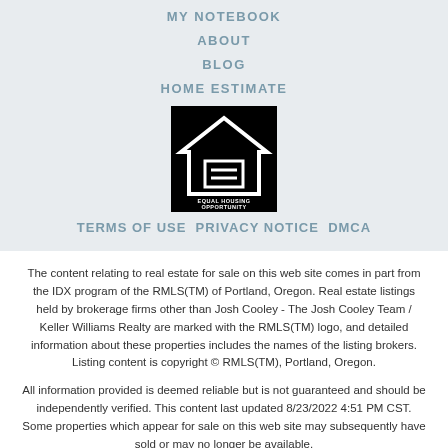MY NOTEBOOK
ABOUT
BLOG
HOME ESTIMATE
[Figure (logo): Equal Housing Opportunity logo — white house outline with equal sign on black background, text reads EQUAL HOUSING OPPORTUNITY]
TERMS OF USE PRIVACY NOTICE DMCA
The content relating to real estate for sale on this web site comes in part from the IDX program of the RMLS(TM) of Portland, Oregon. Real estate listings held by brokerage firms other than Josh Cooley - The Josh Cooley Team / Keller Williams Realty are marked with the RMLS(TM) logo, and detailed information about these properties includes the names of the listing brokers. Listing content is copyright © RMLS(TM), Portland, Oregon.
All information provided is deemed reliable but is not guaranteed and should be independently verified. This content last updated 8/23/2022 4:51 PM CST. Some properties which appear for sale on this web site may subsequently have sold or may no longer be available.